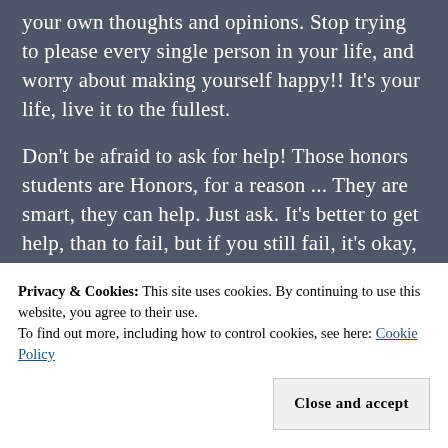your own thoughts and opinions. Stop trying to please every single person in your life, and worry about making yourself happy!! It's your life, live it to the fullest.

Don't be afraid to ask for help! Those honors students are Honors, for a reason ... They are smart, they can help. Just ask. It's better to get help, than to fail, but if you still fail, it's okay, you did your best,
Privacy & Cookies: This site uses cookies. By continuing to use this website, you agree to their use.
To find out more, including how to control cookies, see here: Cookie Policy
Close and accept
That girl who called you fat, she has